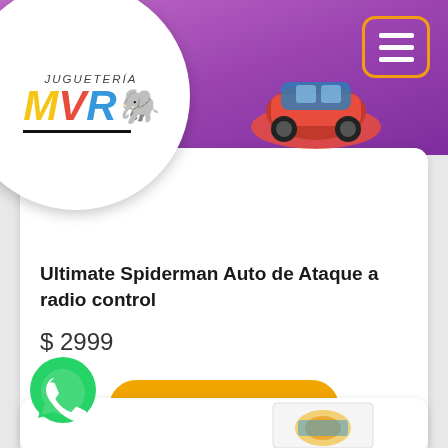[Figure (logo): Juguetería MYR logo in a white circle — colorful bold letters M (yellow), V (red), R (blue) with a small elephant character, italic text 'JUGUETERÍA' above, black underline below]
[Figure (screenshot): Orange rounded-square hamburger menu icon with 3 white bars on purple/magenta header background]
[Figure (photo): Partial view of a Spiderman radio-control car toy peeking from behind the header area]
Ultimate Spiderman Auto de Ataque a radio control
$ 2999
[Figure (other): Orange rounded button with white bold text COMPRAR]
[Figure (logo): Green WhatsApp icon/bubble]
[Figure (photo): Partial view of a second product toy box at bottom of page]